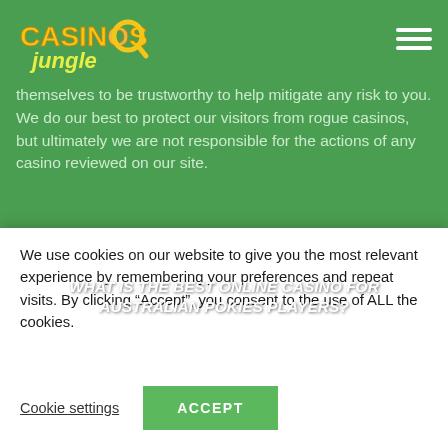[Figure (logo): Casinos Jungle logo with colorful text on green background]
themselves to be trustworthy to help mitigate any risk to you. We do our best to protect our visitors from rogue casinos, but ultimately we are not responsible for the actions of any casino reviewed on our site.
WHAT IS THE BEST ONLINE CASINO FOR AUSTRALIAN POKIES PLAYERS?
Our Top 10 recommendations for the best Australia online pokies casino will help you narrow down the best
We use cookies on our website to give you the most relevant experience by remembering your preferences and repeat visits. By clicking “Accept”, you consent to the use of ALL the cookies.
Cookie settings
ACCEPT